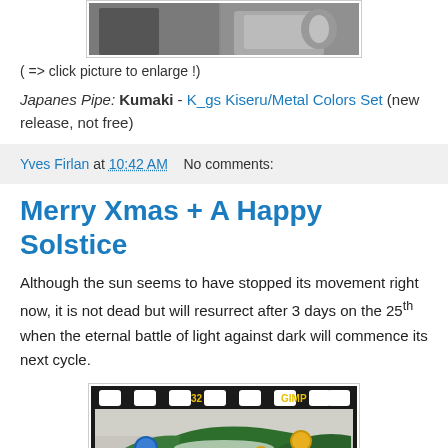[Figure (photo): Partial photo of Japanese pipe / Kumaki metal object, cropped at top]
( => click picture to enlarge !)
Japanes Pipe: Kumaki - K_gs Kiseru/Metal Colors Set (new release, not free)
Yves Firlan at 10:42 AM   No comments:
Merry Xmas + A Happy Solstice
Although the sun seems to have stopped its movement right now, it is not dead but will resurrect after 3 days on the 25th when the eternal battle of light against dark will commence its next cycle.
[Figure (screenshot): Film strip style image showing Christmas ornaments (blue and gold balls) on green branches, with '32' and 'GIMP' text on the film frame]